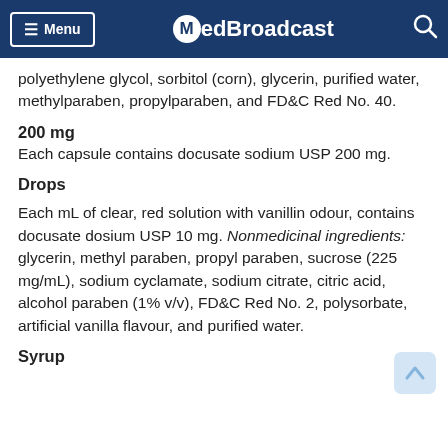≡ Menu  MedBroadcast
polyethylene glycol, sorbitol (corn), glycerin, purified water, methylparaben, propylparaben, and FD&C Red No. 40.
200 mg
Each capsule contains docusate sodium USP 200 mg.
Drops
Each mL of clear, red solution with vanillin odour, contains docusate dosium USP 10 mg. Nonmedicinal ingredients: glycerin, methyl paraben, propyl paraben, sucrose (225 mg/mL), sodium cyclamate, sodium citrate, citric acid, alcohol paraben (1% v/v), FD&C Red No. 2, polysorbate, artificial vanilla flavour, and purified water.
Syrup